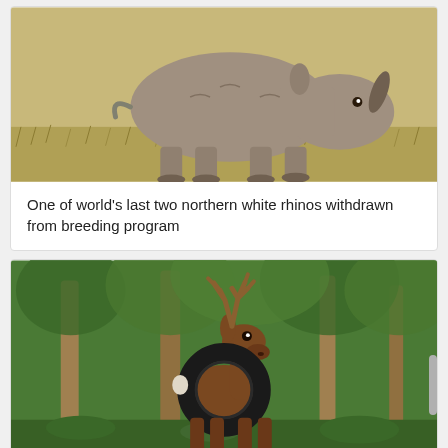[Figure (photo): A northern white rhinoceros walking on dry grassland, viewed from the side-front, showing its large horn and grey body.]
One of world's last two northern white rhinos withdrawn from breeding program
[Figure (photo): A deer standing in a green forest with a black rubber tire looped around its neck.]